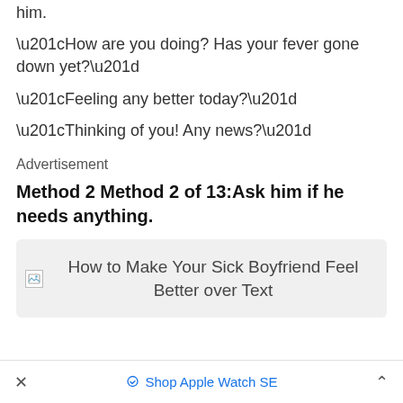him.
“How are you doing? Has your fever gone down yet?”
“Feeling any better today?”
“Thinking of you! Any news?”
Advertisement
Method 2 Method 2 of 13:Ask him if he needs anything.
[Figure (illustration): Broken image placeholder with caption: How to Make Your Sick Boyfriend Feel Better over Text]
Shop Apple Watch SE